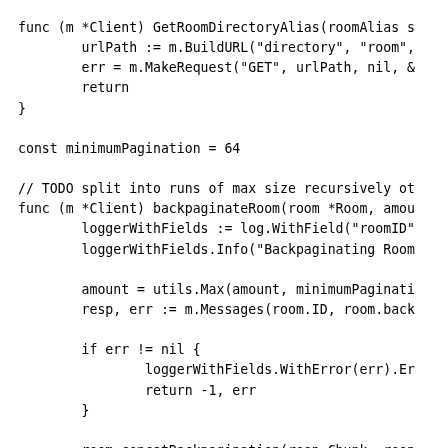func (m *Client) GetRoomDirectoryAlias(roomAlias s
        urlPath := m.BuildURL("directory", "room",
        err = m.MakeRequest("GET", urlPath, nil, &
        return
}

const minimumPagination = 64

// TODO split into runs of max size recursively ot
func (m *Client) backpaginateRoom(room *Room, amou
        loggerWithFields := log.WithField("roomID"
        loggerWithFields.Info("Backpaginating Room

        amount = utils.Max(amount, minimumPaginati
        resp, err := m.Messages(room.ID, room.back

        if err != nil {
                loggerWithFields.WithError(err).Er
                return -1, err
        }

        room.concatBackpagination(resp.Chunk, resp
        loggerWithFields.Info("Finished Backpagina
        return len(resp.Chunk), nil
}

func (m *Client) forwardpaginateRoom(room *Room, a
        amount = utils.Max(amount, minimumPaginati
        resp, err := m.Messages(room.ID, room.forw